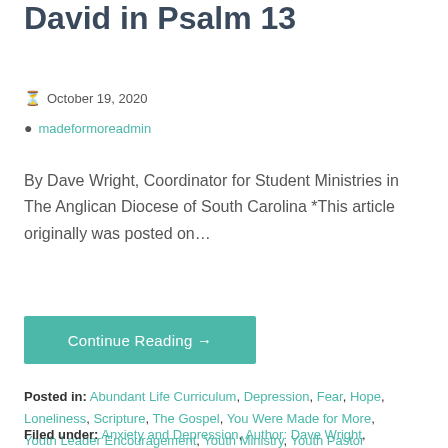David in Psalm 13
October 19, 2020
madeformoreadmin
By Dave Wright, Coordinator for Student Ministries in The Anglican Diocese of South Carolina *This article originally was posted on…
Continue Reading →
Posted in: Abundant Life Curriculum, Depression, Fear, Hope, Loneliness, Scripture, The Gospel, You Were Made for More, Youth Leader Encouragement, Youth Ministry, Youth Pastor
Filed under: Anxiety and Depression, Author: Dave Wright,